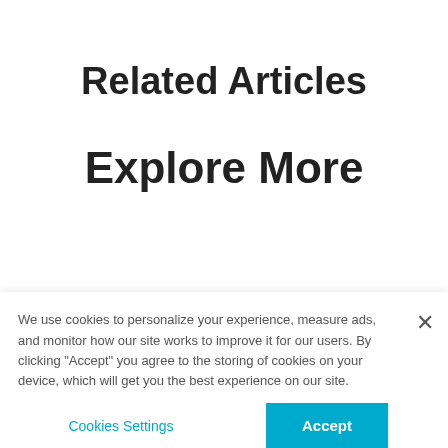Related Articles
Explore More
We use cookies to personalize your experience, measure ads, and monitor how our site works to improve it for our users. By clicking "Accept" you agree to the storing of cookies on your device, which will get you the best experience on our site.
Cookies Settings
Accept